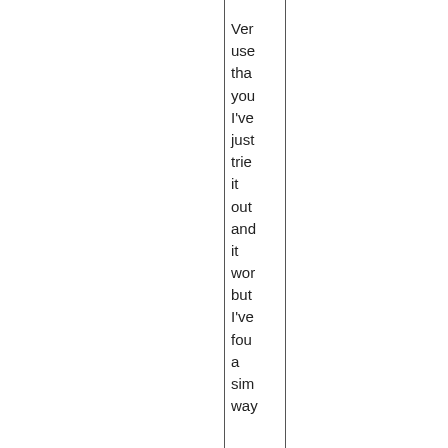Very useful that you I've just tried it out and it wor but I've fou a sim way you can avo